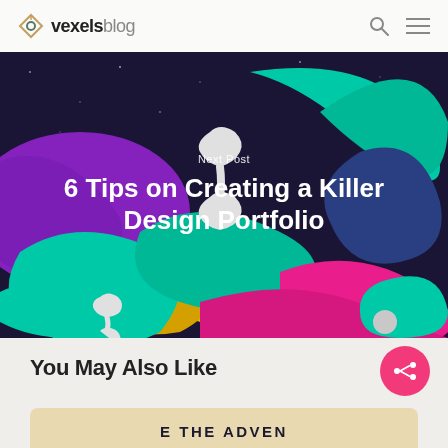vexelsblog
[Figure (illustration): Colorful 3D abstract fluid blob shapes in teal, purple, magenta, yellow, white, and dark blue on a dark navy background. Overlaid text: 'Next Post' and '6 Tips on Creating a Killer Design Portfolio']
Next Post
6 Tips on Creating a Killer Design Portfolio
You May Also Like
[Figure (illustration): Partial view of a card with beige/tan background showing text 'E THE ADVEN...' in bold dark letters, cropped at bottom of page]